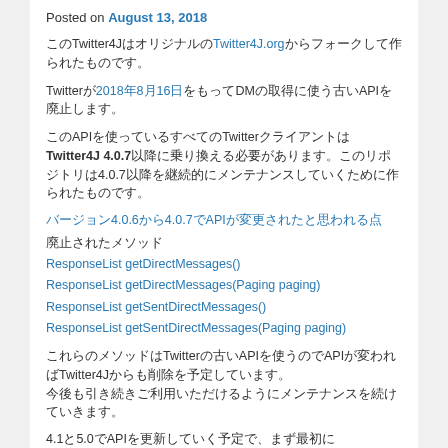Posted on August 13, 2018
このTwitter4JはオリジナルのTwitter4J.orgからフォークして作られたものです。
Twitterが2018年8月16日をもってDMの取得に使う古いAPIを廃止します。
このAPIを使っているすべてのTwitterクライアントはTwitter4J 4.0.7以降に乗り換える必要があります。このリポジトリは4.0.7以降を継続的にメンテナンスしていくために作られたものです。
バージョン4.0.6から4.0.7でAPIが変更されたと思われる点
廃止されたメソッド
ResponseList getDirectMessages()
ResponseList getDirectMessages(Paging paging)
ResponseList getSentDirectMessages()
ResponseList getSentDirectMessages(Paging paging)
これらのメソッドはTwitterの古いAPIを使うのでTwitter4Jからも削除を予定しています。
4.1と5.0でAPIを更新していく予定で、まず最初にDirectMessageList getDirectMessages(int count)が使えるようになっています。